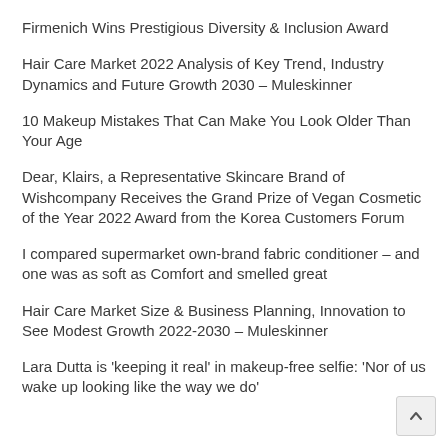Firmenich Wins Prestigious Diversity & Inclusion Award
Hair Care Market 2022 Analysis of Key Trend, Industry Dynamics and Future Growth 2030 – Muleskinner
10 Makeup Mistakes That Can Make You Look Older Than Your Age
Dear, Klairs, a Representative Skincare Brand of Wishcompany Receives the Grand Prize of Vegan Cosmetic of the Year 2022 Award from the Korea Customers Forum
I compared supermarket own-brand fabric conditioner – and one was as soft as Comfort and smelled great
Hair Care Market Size & Business Planning, Innovation to See Modest Growth 2022-2030 – Muleskinner
Lara Dutta is 'keeping it real' in makeup-free selfie: 'Nor of us wake up looking like the way we do'